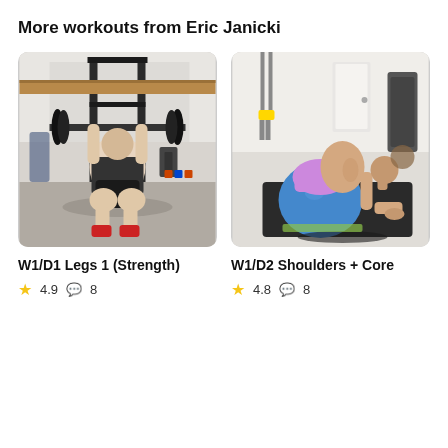More workouts from Eric Janicki
[Figure (photo): A muscular man performing a barbell squat in a garage gym with a squat rack visible in the background.]
[Figure (photo): A muscular shirtless man in purple shorts doing an exercise on a blue stability ball on a gym mat.]
W1/D1 Legs 1 (Strength)
★ 4.9  💬 8
W1/D2 Shoulders + Core
★ 4.8  💬 8